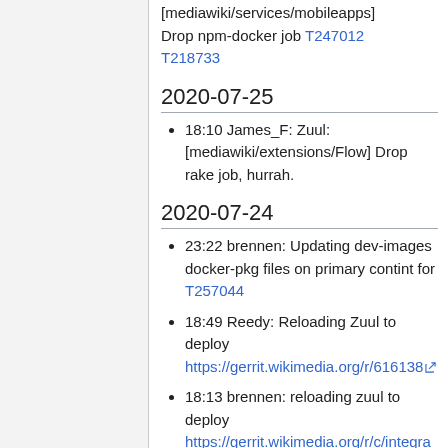[mediawiki/services/mobileapps] Drop npm-docker job T247012 T218733
2020-07-25
18:10 James_F: Zuul: [mediawiki/extensions/Flow] Drop rake job, hurrah.
2020-07-24
23:22 brennen: Updating dev-images docker-pkg files on primary contint for T257044
18:49 Reedy: Reloading Zuul to deploy https://gerrit.wikimedia.org/r/616138
18:13 brennen: reloading zuul to deploy https://gerrit.wikimedia.org/r/c/integra...